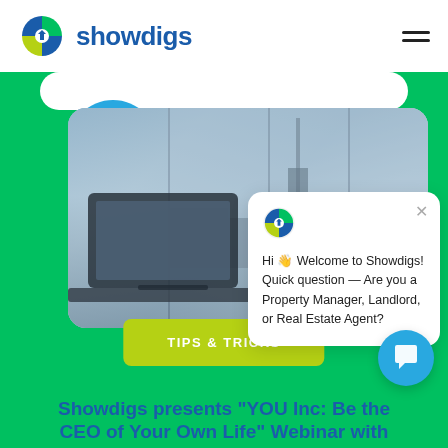[Figure (logo): Showdigs logo with colorful pinwheel icon and blue text 'showdigs']
[Figure (screenshot): Website screenshot showing Showdigs homepage with a laptop photo, chat popup asking 'Hi Welcome to Showdigs! Quick question — Are you a Property Manager, Landlord, or Real Estate Agent?', a Tips & Tricks button, and article title 'Showdigs presents YOU Inc: Be the CEO of Your Own Life Webinar with']